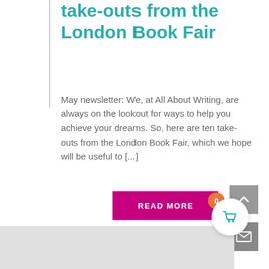take-outs from the London Book Fair
May newsletter: We, at All About Writing, are always on the lookout for ways to help you achieve your dreams. So, here are ten take-outs from the London Book Fair, which we hope will be useful to [...]
[Figure (other): Pink 'READ MORE' button]
[Figure (other): Grey scroll-up arrow button]
[Figure (other): Grey mail/envelope icon button]
[Figure (other): Orange badge with '0' and shopping cart icon in white circle]
[Figure (other): Grey footer/bar at bottom of page]